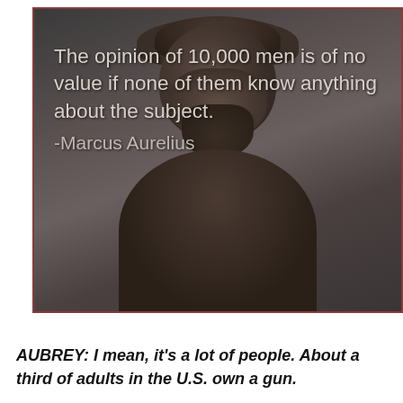[Figure (photo): Dark photograph/illustration of a classical Roman bust sculpture (Marcus Aurelius) with curly hair and beard, set against a dark gray background. The image has a dark red/maroon border. Overlaid white text contains a quote.]
The opinion of 10,000 men is of no value if none of them know anything about the subject. -Marcus Aurelius
AUBREY: I mean, it's a lot of people. About a third of adults in the U.S. own a gun.